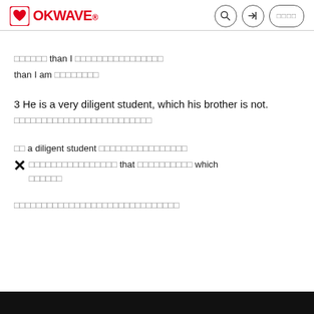OKWAVE
□□□□□□ than I □□□□□□□□□□□□□□□□
than I am □□□□□□□□
3 He is a very diligent student, which his brother is not.
□□□□□□□□□□□□□□□□□□□□□□□□□
□□ a diligent student □□□□□□□□□□□□□□□□
× □□□□□□□□□□□□□□□□ that □□□□□□□□□□ which □□□□□□
□□□□□□□□□□□□□□□□□□□□□□□□□□□□□□